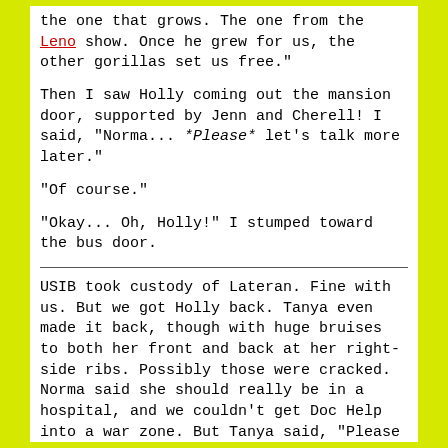the one that grows. The one from the Leno show. Once he grew for us, the other gorillas set us free."
Then I saw Holly coming out the mansion door, supported by Jenn and Cherell! I said, "Norma... *Please* let's talk more later."
"Of course."
"Okay... Oh, Holly!" I stumped toward the bus door.
USIB took custody of Lateran. Fine with us. But we got Holly back. Tanya even made it back, though with huge bruises to both her front and back at her right-side ribs. Possibly those were cracked. Norma said she should really be in a hospital, and we couldn't get Doc Help into a war zone. But Tanya said, "Please don't make me miss the victory party." Norma couldn't argue with that.